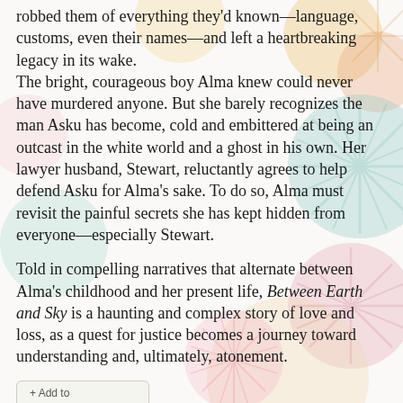robbed them of everything they'd known—language, customs, even their names—and left a heartbreaking legacy in its wake.
The bright, courageous boy Alma knew could never have murdered anyone. But she barely recognizes the man Asku has become, cold and embittered at being an outcast in the white world and a ghost in his own. Her lawyer husband, Stewart, reluctantly agrees to help defend Asku for Alma's sake. To do so, Alma must revisit the painful secrets she has kept hidden from everyone—especially Stewart.
Told in compelling narratives that alternate between Alma's childhood and her present life, Between Earth and Sky is a haunting and complex story of love and loss, as a quest for justice becomes a journey toward understanding and, ultimately, atonement.
[Figure (logo): Goodreads '+ Add to goodreads' button with logo]